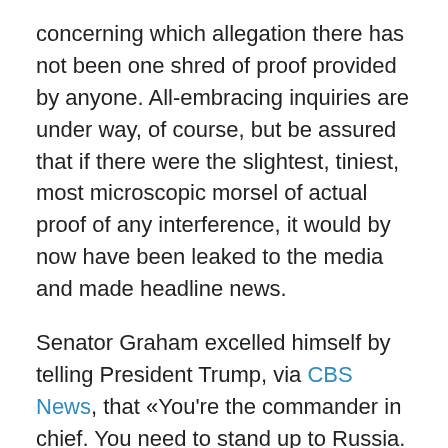concerning which allegation there has not been one shred of proof provided by anyone. All-embracing inquiries are under way, of course, but be assured that if there were the slightest, tiniest, most microscopic morsel of actual proof of any interference, it would by now have been leaked to the media and made headline news.
Senator Graham excelled himself by telling President Trump, via CBS News, that «You're the commander in chief. You need to stand up to Russia. We're never going to reset our relationship with Russia until we punish them for trying to destroy democracy. And that starts with more sanctions».
Then the CBS interviewer brought up the subject of the many inquiries into allegations of Trump-Russia plotting and mentioned that a Democrat had said the